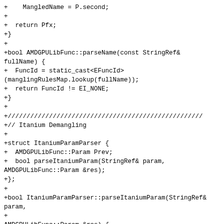+    MangledName = P.second;
+
+  return Pfx;
+}
+
+bool AMDGPULibFunc::parseName(const StringRef& fullName) {
+  FuncId = static_cast<EFuncId>(manglingRulesMap.lookup(fullName));
+  return FuncId != EI_NONE;
+}
+
+////////////////////////////////////////////////////
+// Itanium Demangling
+
+struct ItaniumParamParser {
+  AMDGPULibFunc::Param Prev;
+  bool parseItaniumParam(StringRef& param, AMDGPULibFunc::Param &res);
+};
+
+bool ItaniumParamParser::parseItaniumParam(StringRef& param,
+
+AMDGPULibFunc::Param &res) {
+  res.reset();
+  if (param.empty()) return false;
+
+  // parse pointer prefix
+  if (eatTerm(param, 'P')) {
+    if (eatTerm(param, 'K')) res.PtrKind !=